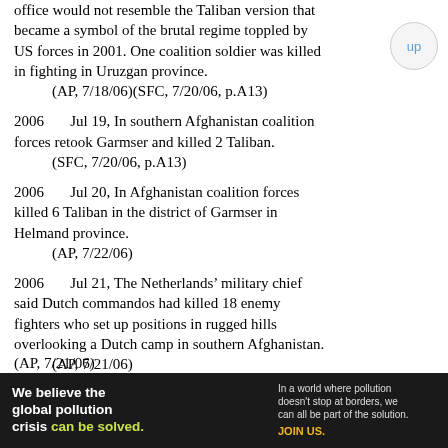office would not resemble the Taliban version that became a symbol of the brutal regime toppled by US forces in 2001. One coalition soldier was killed in fighting in Uruzgan province.
    (AP, 7/18/06)(SFC, 7/20/06, p.A13)
2006    Jul 19, In southern Afghanistan coalition forces retook Garmser and killed 2 Taliban.
    (SFC, 7/20/06, p.A13)
2006    Jul 20, In Afghanistan coalition forces killed 6 Taliban in the district of Garmser in Helmand province.
    (AP, 7/22/06)
2006    Jul 21, The Netherlands’ military chief said Dutch commandos had killed 18 enemy fighters who set up positions in rugged hills overlooking a Dutch camp in southern Afghanistan.
    (AP, 7/21/06)
[Figure (infographic): Pure Earth advertisement banner: 'We believe the global pollution crisis can be solved.' with tagline about pollution not stopping at borders and JOIN US call to action, with Pure Earth diamond logo.]